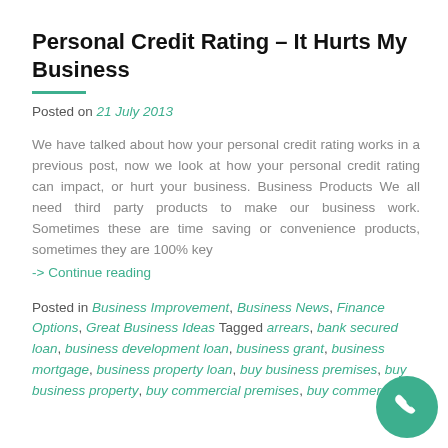Personal Credit Rating – It Hurts My Business
Posted on 21 July 2013
We have talked about how your personal credit rating works in a previous post, now we look at how your personal credit rating can impact, or hurt your business. Business Products We all need third party products to make our business work. Sometimes these are time saving or convenience products, sometimes they are 100% key
-> Continue reading
Posted in Business Improvement, Business News, Finance Options, Great Business Ideas Tagged arrears, bank secured loan, business development loan, business grant, business mortgage, business property loan, buy business premises, buy business property, buy commercial premises, buy commercial